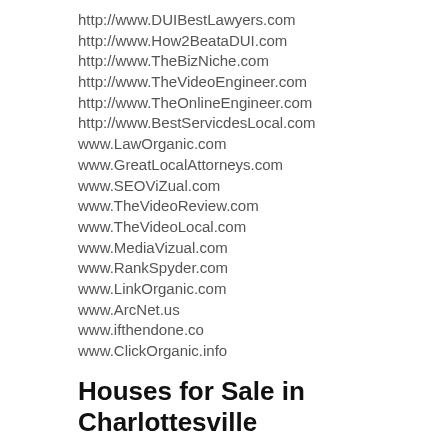http://www.DUIBestLawyers.com
http://www.How2BeataDUI.com
http://www.TheBizNiche.com
http://www.TheVideoEngineer.com
http://www.TheOnlineEngineer.com
http://www.BestServicdesLocal.com
www.LawOrganic.com
www.GreatLocalAttorneys.com
www.SEOViZual.com
www.TheVideoReview.com
www.TheVideoLocal.com
www.MediaVizual.com
www.RankSpyder.com
www.LinkOrganic.com
www.ArcNet.us
www.ifthendone.co
www.ClickOrganic.info
Houses for Sale in Charlottesville